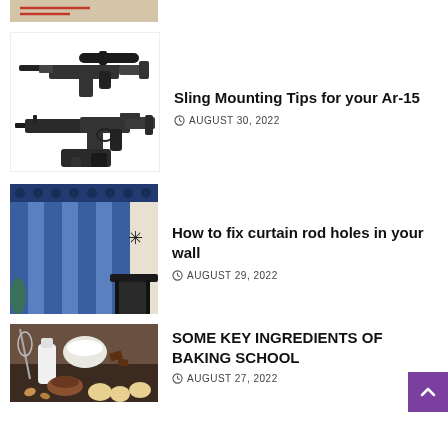[Figure (photo): Partial top image cropped, tan/beige background with partial logo]
[Figure (photo): Two AR-15 style rifles shown in black and white illustration]
Sling Mounting Tips for your Ar-15
AUGUST 30, 2022
[Figure (photo): Blue curtains hanging on a rod in a room with a black chair and star decoration]
How to fix curtain rod holes in your wall
AUGUST 29, 2022
[Figure (photo): Baking ingredients including eggs, milk, chocolate, flour and a whisk on a dark surface]
SOME KEY INGREDIENTS OF BAKING SCHOOL
AUGUST 27, 2022